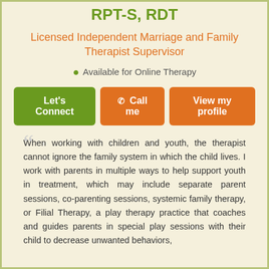RPT-S, RDT
Licensed Independent Marriage and Family Therapist Supervisor
Available for Online Therapy
Let's Connect | Call me | View my profile
When working with children and youth, the therapist cannot ignore the family system in which the child lives. I work with parents in multiple ways to help support youth in treatment, which may include separate parent sessions, co-parenting sessions, systemic family therapy, or Filial Therapy, a play therapy practice that coaches and guides parents in special play sessions with their child to decrease unwanted behaviors,